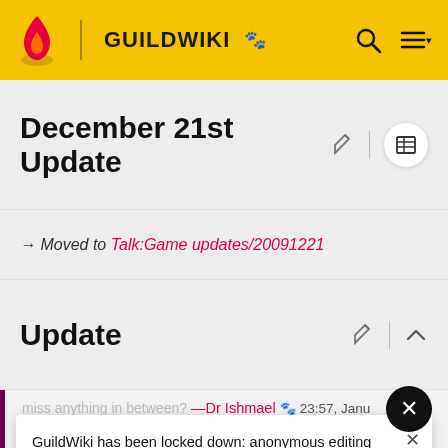GuildWiki
December 21st Update
→ Moved to Talk:Game updates/20091221
Update
miss anything in between? —Dr Ishmael 23:57, January 16, 2010 (UTC)
GuildWiki has been locked down: anonymous editing and account creation are disabled. Current registered users are unaffected. Leave any comments on the Community Portal.
You missed "Major Content and Feature Additions" :P
M ***EAGLEMUT*** TALK 01:13, January 17, 2010 (UTC)